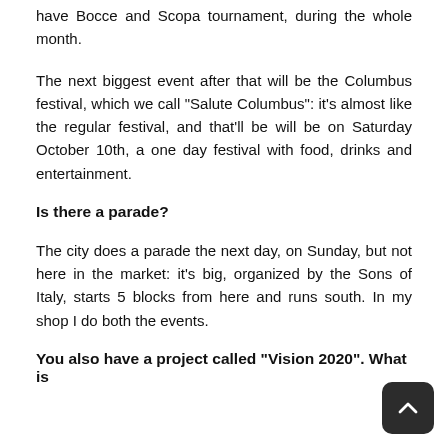have Bocce and Scopa tournament, during the whole month.
The next biggest event after that will be the Columbus festival, which we call "Salute Columbus": it's almost like the regular festival, and that'll be will be on Saturday October 10th, a one day festival with food, drinks and entertainment.
Is there a parade?
The city does a parade the next day, on Sunday, but not here in the market: it's big, organized by the Sons of Italy, starts 5 blocks from here and runs south. In my shop I do both the events.
You also have a project called "Vision 2020". What is